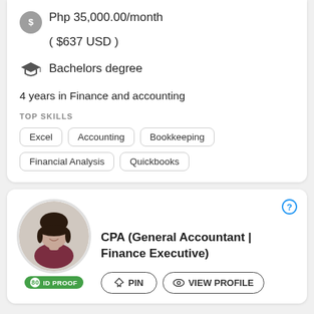Php 35,000.00/month ( $637 USD )
Bachelors degree
4 years in Finance and accounting
TOP SKILLS
Excel
Accounting
Bookkeeping
Financial Analysis
Quickbooks
CPA (General Accountant | Finance Executive)
80 ID PROOF
PIN
VIEW PROFILE